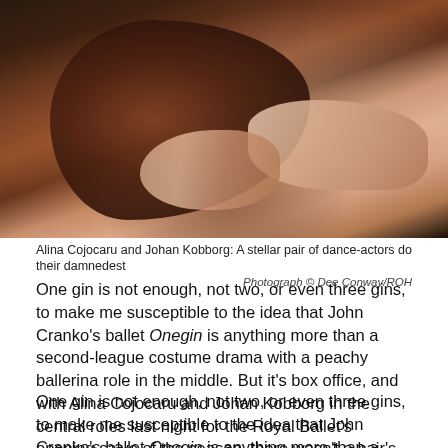[Figure (photo): Alina Cojocaru and Johan Kobborg performing ballet, showing costume drama with arms and fabric visible against dark background]
Alina Cojocaru and Johan Kobborg: A stellar pair of dance-actors do their damnedest
Photograph © Dee Conway/ROH
One gin is not enough, not two, or even three gins, to make me susceptible to the idea that John Cranko's ballet Onegin is anything more than a second-league costume drama with a peachy ballerina role in the middle. But it's box office, and with Alina Cojocaru and Johan Kobborg in the central roles last night for the Royal Ballet's opening salvo of the season, there wasn't a hair's-breadth spare in the house, every place gone, even the standing ones in the gods where you can only see a sliver of the stage.
One gin is not enough, not two, or even three gins, to make me susceptible to the idea that John Cranko's ballet Onegin is anything more than a second-league costume drama with a peachy ballerina role in the middle. But it's box office, and